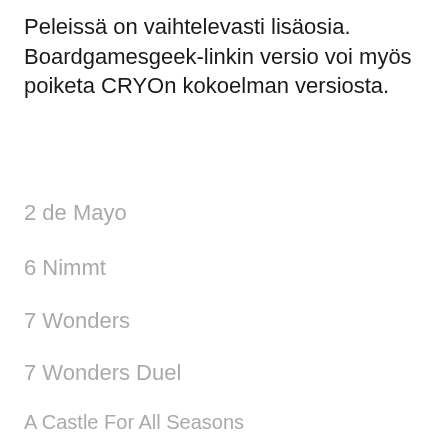Peleissä on vaihtelevasti lisäosia. Boardgamesgeek-linkin versio voi myös poiketa CRYOn kokoelman versiosta.
2 de Mayo
6 Nimmt
7 Wonders
7 Wonders Duel
A Castle For All Seasons
Agricola